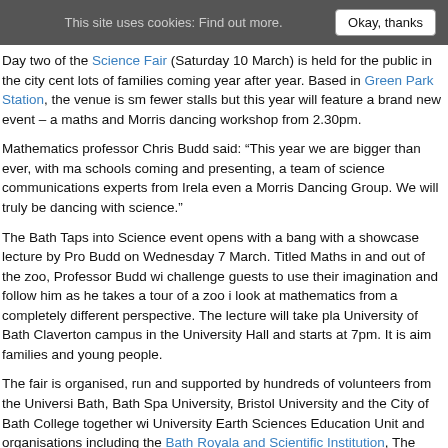This site uses cookies: Find out more. [Okay, thanks button]
Day two of the Science Fair (Saturday 10 March) is held for the public in the city cent lots of families coming year after year. Based in Green Park Station, the venue is sm fewer stalls but this year will feature a brand new event – a maths and Morris dancing workshop from 2.30pm.
Mathematics professor Chris Budd said: “This year we are bigger than ever, with ma schools coming and presenting, a team of science communications experts from Irela even a Morris Dancing Group. We will truly be dancing with science.”
The Bath Taps into Science event opens with a bang with a showcase lecture by Pro Budd on Wednesday 7 March. Titled Maths in and out of the zoo, Professor Budd wi challenge guests to use their imagination and follow him as he takes a tour of a zoo i look at mathematics from a completely different perspective. The lecture will take pla University of Bath Claverton campus in the University Hall and starts at 7pm. It is aim families and young people.
The fair is organised, run and supported by hundreds of volunteers from the Universi Bath, Bath Spa University, Bristol University and the City of Bath College together wi University Earth Sciences Education Unit and organisations including the Bath Royala and Scientific Institution, The Ethical Property Group, B&NES Waste Services, the H Society, Wessex Setpoint, the Propioception Trust and Science City Bristol.